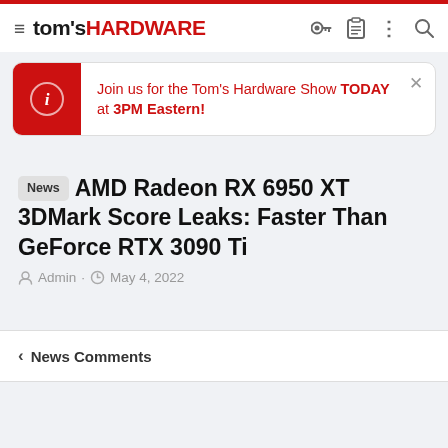tom's HARDWARE
Join us for the Tom's Hardware Show TODAY at 3PM Eastern!
AMD Radeon RX 6950 XT 3DMark Score Leaks: Faster Than GeForce RTX 3090 Ti
Admin · May 4, 2022
< News Comments